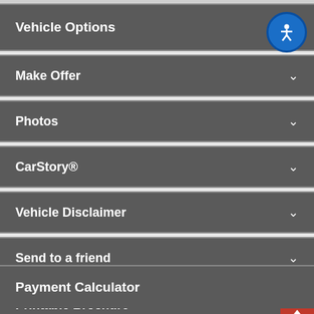Vehicle Options
Make Offer
Photos
CarStory®
Vehicle Disclaimer
Send to a friend
Printable Brochure
Payment Calculator